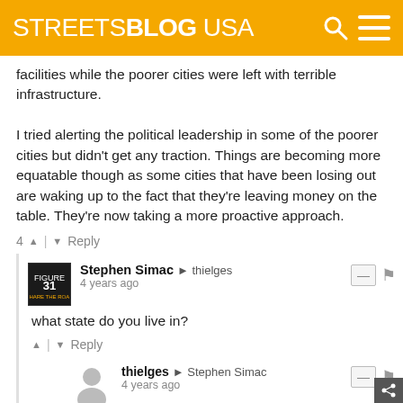STREETSBLOG USA
facilities while the poorer cities were left with terrible infrastructure.

I tried alerting the political leadership in some of the poorer cities but didn't get any traction. Things are becoming more equatable though as some cities that have been losing out are waking up to the fact that they're leaving money on the table. They're now taking a more proactive approach.
4 ▲ | ▼ Reply
Stephen Simac → thielges
4 years ago

what state do you live in?
▲ | ▼ Reply
thielges → Stephen Simac
4 years ago

Santa Clara County, CA (a.k.a. Silicon Valley)